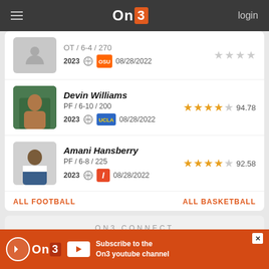ON3 — login
OT / 6-4 / 270 — 2023 — 08/28/2022
Devin Williams — PF / 6-10 / 200 — 2023 — 08/28/2022 — 94.78
Amani Hansberry — PF / 6-8 / 225 — 2023 — 08/28/2022 — 92.58
ALL FOOTBALL
ALL BASKETBALL
ON3 CONNECT
@on3sports
[Figure (screenshot): ON3 Subscribe to the On3 youtube channel advertisement banner]